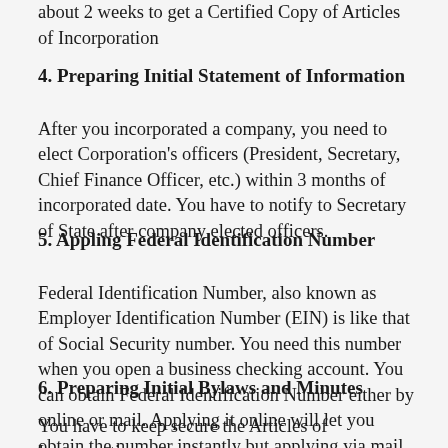about 2 weeks to get a Certified Copy of Articles of Incorporation
4. Preparing Initial Statement of Information
After you incorporated a company, you need to elect Corporation's officers (President, Secretary, Chief Finance Officer, etc.) within 3 months of incorporated date. You have to notify to Secretary of State after company elected officers.
5. Appling Federal Identification Number
Federal Identification Number, also known as Employer Identification Number (EIN) is like that of Social Security number. You need this number when you open a business checking account. You can obtain Federal Identification Number either by online or mail. Applying it online will let you obtain the number instantly but applying via mail will take couple days.
6. Preparing Initial Bylaws and Minutes
You have to keep secure the Articles of Incorporation,